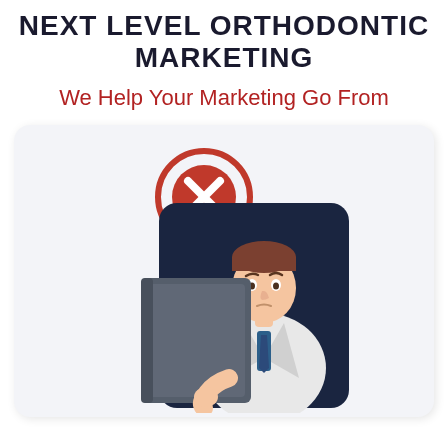NEXT LEVEL ORTHODONTIC MARKETING
We Help Your Marketing Go From
[Figure (illustration): Card with a red X circle icon at top and a cartoon doctor/orthodontist in a white coat holding a dark book/folder, looking uncertain, against a dark navy background panel.]